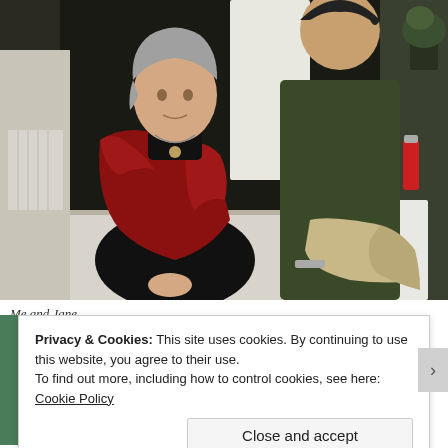[Figure (photo): Two people standing together indoors. On the left is an older woman with grey hair pulled back, wearing a black turtleneck and a red paisley shawl/wrap, with a pendant necklace, hands clasped. On the right is a taller person in a dark olive/green t-shirt holding a beige trench coat. Background shows a dark curtain with some white draping, a radiator on the left, a fire extinguisher on the right, and a potted plant in the far right corner.]
Me and Jane.
Privacy & Cookies: This site uses cookies. By continuing to use this website, you agree to their use.
To find out more, including how to control cookies, see here: Cookie Policy
Close and accept